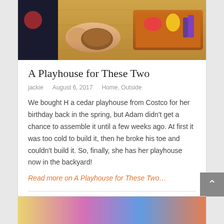[Figure (photo): Hands holding wooden toy shapes near a tray with colorful plastic food/toys on a wooden surface]
A Playhouse for These Two
jackie   August 6, 2017   Home, Outside
We bought H a cedar playhouse from Costco for her birthday back in the spring, but Adam didn’t get a chance to assemble it until a few weeks ago. At first it was too cold to build it, then he broke his toe and couldn’t build it. So, finally, she has her playhouse now in the backyard!
Read more on A Playhouse for These Two…
[Figure (photo): Colorful image at the bottom of the page, partially visible]